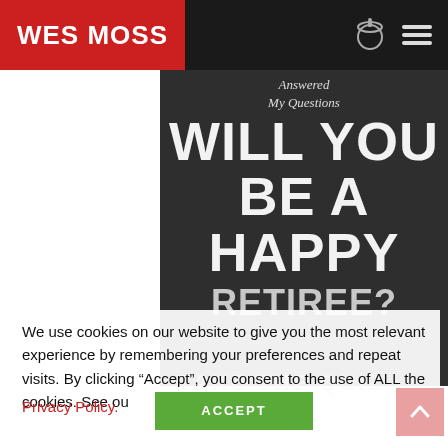WES MOSS
[Figure (illustration): Chalkboard-style image with white chalk text reading 'Answered My Questions / WILL YOU BE A HAPPY RETIREE?' and a 'TAKE THE QUIZ' call to action at the bottom]
We use cookies on our website to give you the most relevant experience by remembering your preferences and repeat visits. By clicking “Accept”, you consent to the use of ALL the cookies. See ou
Privacy Policy.
TAKE THE QUIZ
ACCEPT